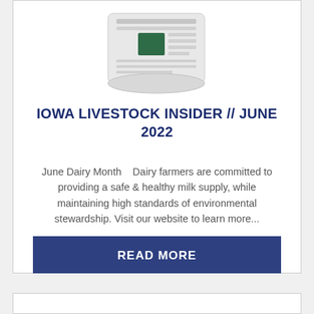[Figure (illustration): Newspaper/newsletter icon illustration shown partially at top of card]
IOWA LIVESTOCK INSIDER // JUNE 2022
June Dairy Month    Dairy farmers are committed to providing a safe & healthy milk supply, while maintaining high standards of environmental stewardship. Visit our website to learn more...
READ MORE